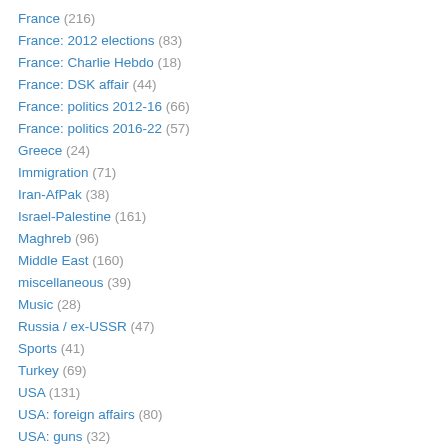France (216)
France: 2012 elections (83)
France: Charlie Hebdo (18)
France: DSK affair (44)
France: politics 2012-16 (66)
France: politics 2016-22 (57)
Greece (24)
Immigration (71)
Iran-AfPak (38)
Israel-Palestine (161)
Maghreb (96)
Middle East (160)
miscellaneous (39)
Music (28)
Russia / ex-USSR (47)
Sports (41)
Turkey (69)
USA (131)
USA: foreign affairs (80)
USA: guns (32)